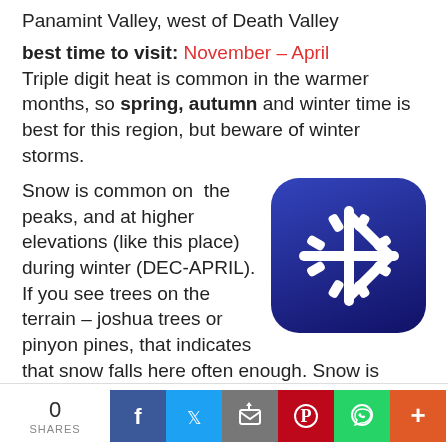Panamint Valley, west of Death Valley
best time to visit: November – April
Triple digit heat is common in the warmer months, so spring, autumn and winter time is best for this region, but beware of winter storms.
[Figure (illustration): Snowflake icon on dark blue rounded-square background]
Snow is common on the peaks, and at higher elevations (like this place) during winter (DEC-APRIL). If you see trees on the terrain – joshua trees or pinyon pines, that indicates that snow falls here often enough. Snow is possible around Death Valley, down to 3000' elev. during coldest of winter storms.
Surprise Canyon Wilderness BLM – Desert mountains, steep rocky terrain w/ peaks and very few trees. Surprise Canyon can
0 SHARES [Facebook] [Twitter] [Email] [Pinterest] [WhatsApp] [Plus]